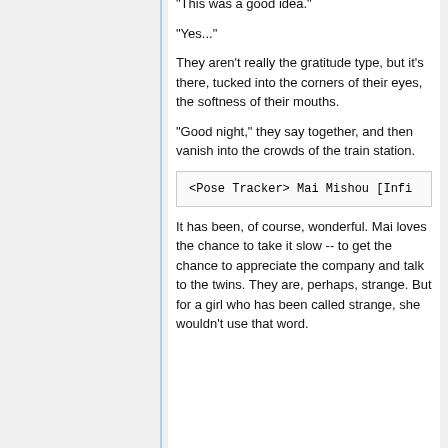"This was a good idea."
"Yes..."
They aren't really the gratitude type, but it's there, tucked into the corners of their eyes, the softness of their mouths.
"Good night," they say together, and then vanish into the crowds of the train station.
<Pose Tracker> Mai Mishou [Infi
It has been, of course, wonderful. Mai loves the chance to take it slow -- to get the chance to appreciate the company and talk to the twins. They are, perhaps, strange. But for a girl who has been called strange, she wouldn't use that word.